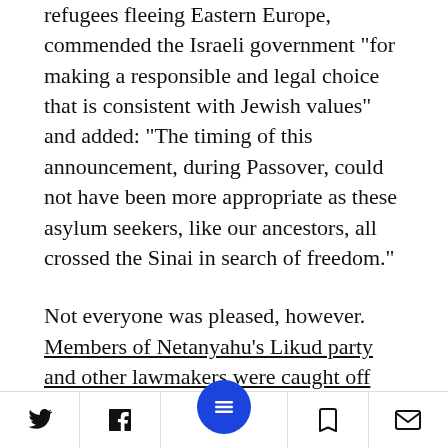refugees fleeing Eastern Europe, commended the Israeli government "for making a responsible and legal choice that is consistent with Jewish values" and added: "The timing of this announcement, during Passover, could not have been more appropriate as these asylum seekers, like our ancestors, all crossed the Sinai in search of freedom."
Not everyone was pleased, however. Members of Netanyahu's Likud party and other lawmakers were caught off guard by the plan, causing some of them to call for a